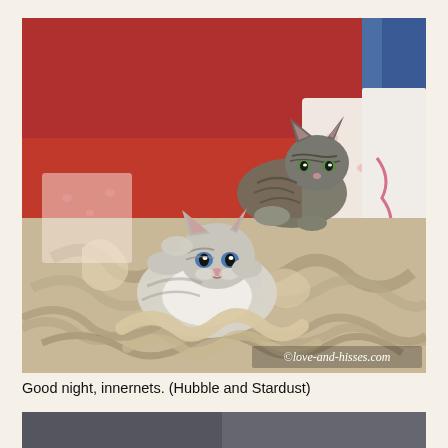[Figure (photo): Two kittens lying in a cat bed filled with crinkled blankets. One tabby kitten is in the background looking at the camera, and another tabby-and-white kitten is in the foreground lying on its back. A white fluffy blanket with pink accents is visible on the right. A watermark reads '©love-and-hisses.com' in the lower right corner.]
Good night, innernets. (Hubble and Stardust)
[Figure (photo): Partial view of another photo at the bottom of the page, showing what appears to be another cat or kitten scene.]